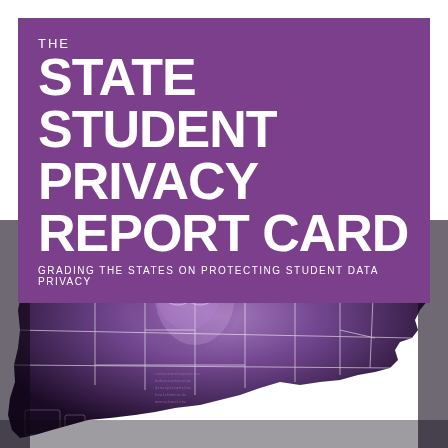THE STATE STUDENT PRIVACY REPORT CARD GRADING THE STATES ON PROTECTING STUDENT DATA PRIVACY
[Figure (illustration): Silhouette map of the United States filled with a dark purple/black photograph of a woman with glasses looking at a glowing screen overlaid with code text, state boundary lines shown in white]